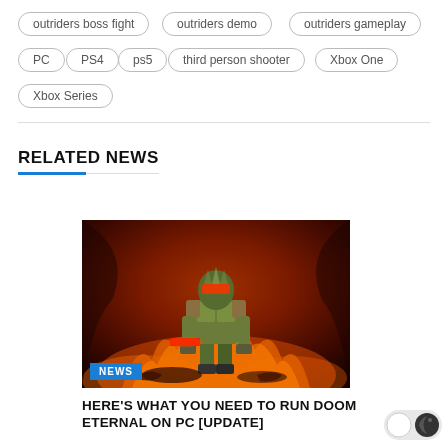outriders boss fight
outriders demo
outriders gameplay
PC
PS4
ps5
third person shooter
Xbox One
Xbox Series
RELATED NEWS
[Figure (photo): Doom Eternal game art showing armored slayer standing over defeated enemies with fiery background. NEWS badge in bottom left corner.]
HERE'S WHAT YOU NEED TO RUN DOOM ETERNAL ON PC [UPDATE]